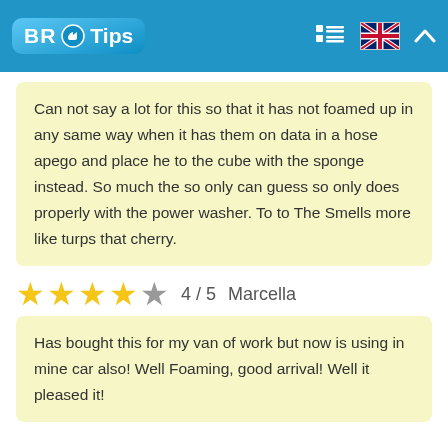BR Tips
Can not say a lot for this so that it has not foamed up in any same way when it has them on data in a hose apego and place he to the cube with the sponge instead. So much the so only can guess so only does properly with the power washer. To to The Smells more like turps that cherry.
4 / 5  Marcella
Has bought this for my van of work but now is using in mine car also! Well Foaming, good arrival! Well it pleased it!